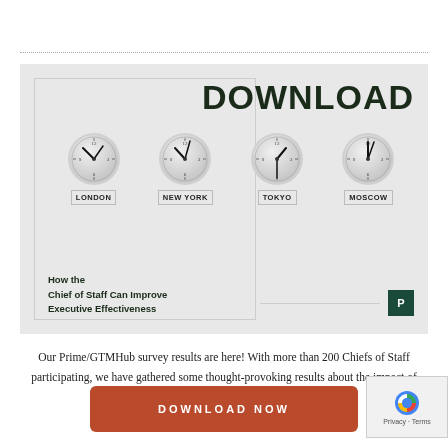[Figure (illustration): Download banner showing four world clocks (London, New York, Tokyo, Moscow) on a gray background with large DOWNLOAD text, a report title 'How the Chief of Staff Can Improve Executive Effectiveness', and a green P badge]
Our Prime/GTMHub survey results are here! With more than 200 Chiefs of Staff participating, we have gathered some thought-provoking results about the impact of the role post-pandemic.
DOWNLOAD NOW